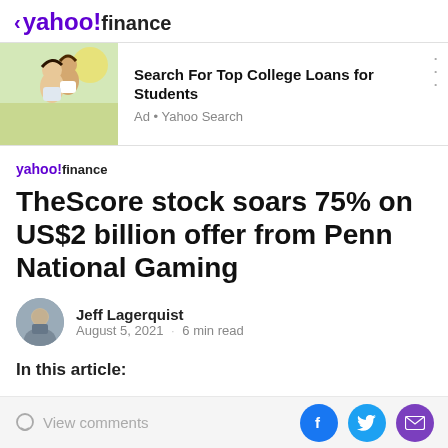< yahoo!finance
[Figure (screenshot): Advertisement banner: photo of two happy young people, with text 'Search For Top College Loans for Students' and 'Ad • Yahoo Search']
yahoo!finance
TheScore stock soars 75% on US$2 billion offer from Penn National Gaming
Jeff Lagerquist
August 5, 2021  ·  6 min read
In this article:
View comments